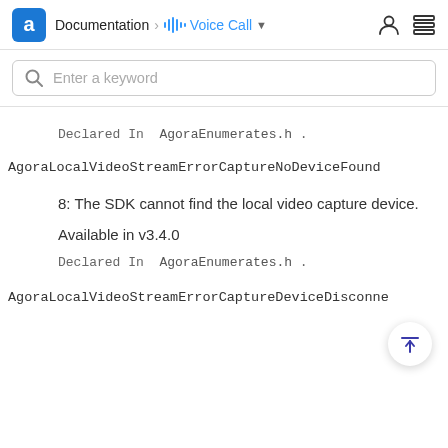Documentation > Voice Call
Enter a keyword
Declared In  AgoraEnumerates.h .
AgoraLocalVideoStreamErrorCaptureNoDeviceFound
8: The SDK cannot find the local video capture device.
Available in v3.4.0
Declared In  AgoraEnumerates.h .
AgoraLocalVideoStreamErrorCaptureDeviceDisconne